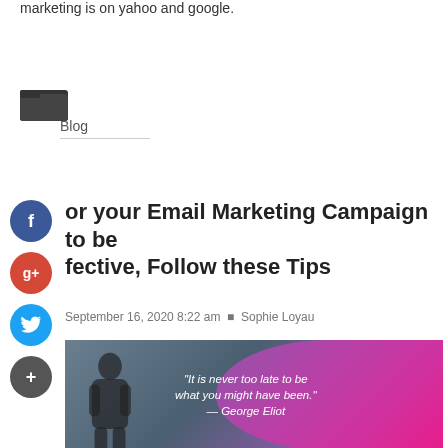marketing is on yahoo and google.
[Figure (illustration): Folder icon]
Blog
[Figure (illustration): Facebook share button (blue circle with f)]
[Figure (illustration): Google+ share button (red circle with g+)]
[Figure (illustration): Twitter share button (blue circle with bird)]
[Figure (illustration): Add/share button (dark circle with +)]
For your Email Marketing Campaign to be Effective, Follow these Tips
September 16, 2020 8:22 am  Sophie Loyau
[Figure (photo): Motivational quote image: person silhouette on left, colorful pink/purple blob on right, text reads "It is never too late to be what you might have been." — George Eliot]